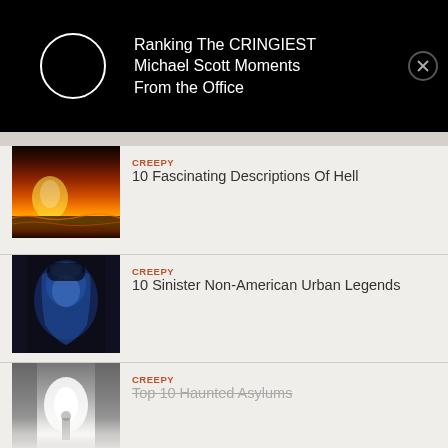[Figure (screenshot): Black banner with circular avatar placeholder, title text, and close button]
Ranking The CRINGIEST Michael Scott Moments From the Office
[Figure (photo): Fiery hellscape image - orange and yellow flames on dark background]
CREEPY
10 Fascinating Descriptions Of Hell
[Figure (photo): Ghostly blue-lit figure with veil in dark setting]
CREEPY
10 Sinister Non-American Urban Legends
[Figure (photo): Misty asylum corridor with bright light at end - partially visible]
CREEPY
Top 10 Haunted Asylums